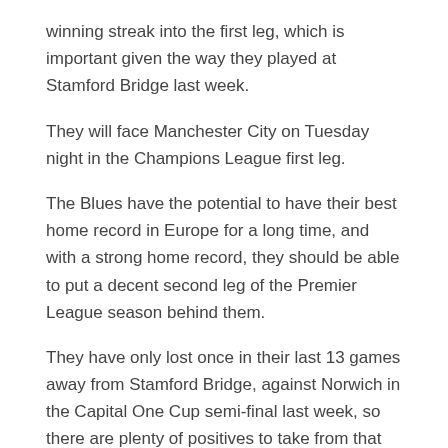winning streak into the first leg, which is important given the way they played at Stamford Bridge last week.
They will face Manchester City on Tuesday night in the Champions League first leg.
The Blues have the potential to have their best home record in Europe for a long time, and with a strong home record, they should be able to put a decent second leg of the Premier League season behind them.
They have only lost once in their last 13 games away from Stamford Bridge, against Norwich in the Capital One Cup semi-final last week, so there are plenty of positives to take from that game.